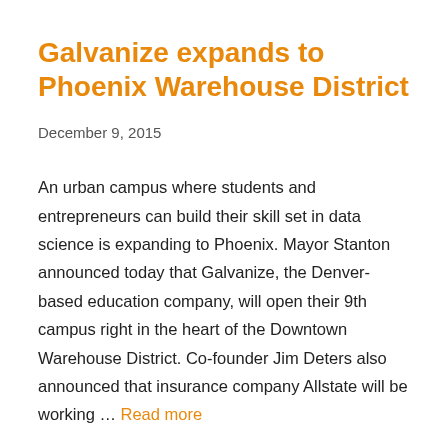Galvanize expands to Phoenix Warehouse District
December 9, 2015
An urban campus where students and entrepreneurs can build their skill set in data science is expanding to Phoenix. Mayor Stanton announced today that Galvanize, the Denver-based education company, will open their 9th campus right in the heart of the Downtown Warehouse District. Co-founder Jim Deters also announced that insurance company Allstate will be working … Read more